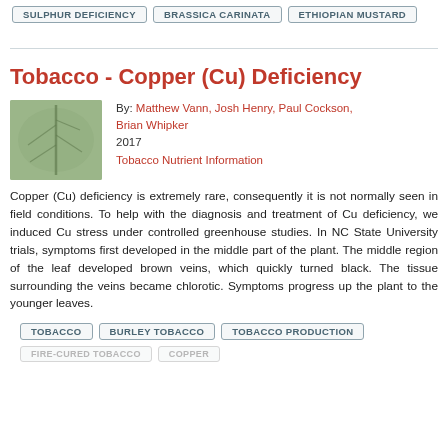SULPHUR DEFICIENCY
BRASSICA CARINATA
ETHIOPIAN MUSTARD
Tobacco - Copper (Cu) Deficiency
By: Matthew Vann, Josh Henry, Paul Cockson, Brian Whipker
2017
Tobacco Nutrient Information
[Figure (photo): Close-up photo of a tobacco leaf showing copper deficiency symptoms with dark veins and pale tissue]
Copper (Cu) deficiency is extremely rare, consequently it is not normally seen in field conditions. To help with the diagnosis and treatment of Cu deficiency, we induced Cu stress under controlled greenhouse studies. In NC State University trials, symptoms first developed in the middle part of the plant. The middle region of the leaf developed brown veins, which quickly turned black. The tissue surrounding the veins became chlorotic. Symptoms progress up the plant to the younger leaves.
TOBACCO
BURLEY TOBACCO
TOBACCO PRODUCTION